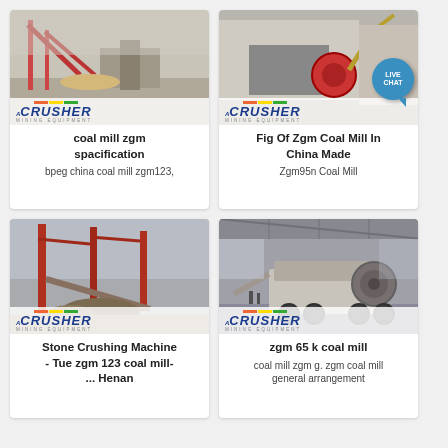[Figure (photo): Industrial coal mill / mining equipment facility with conveyor structures and piles of material, ACRUSHER logo overlay]
coal mill zgm spacification
bpeg china coal mill zgm123,
[Figure (photo): Industrial crushing equipment with heavy machinery and excavator, ACRUSHER logo overlay, LIVE CHAT bubble]
Fig Of Zgm Coal Mill In China Made
Zgm95n Coal Mill
[Figure (photo): Stone crushing facility with tall red structural towers and aggregate piles, ACRUSHER logo overlay]
Stone Crushing Machine - Tue zgm 123 coal mill- ... Henan
coal mill zgm g. zgm coal mill general arrangement
[Figure (photo): Large industrial warehouse interior with mobile crushing machine on wheels, ACRUSHER logo overlay]
zgm 65 k coal mill
coal mill zgm g. zgm coal mill general arrangement